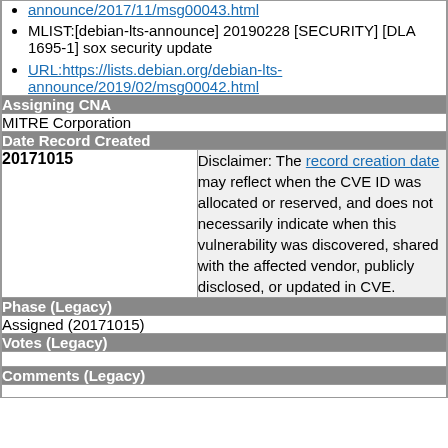announce/2017/11/msg00043.html (link)
MLIST:[debian-lts-announce] 20190228 [SECURITY] [DLA 1695-1] sox security update
URL:https://lists.debian.org/debian-lts-announce/2019/02/msg00042.html
Assigning CNA
MITRE Corporation
Date Record Created
| Date | Disclaimer |
| --- | --- |
| 20171015 | Disclaimer: The record creation date may reflect when the CVE ID was allocated or reserved, and does not necessarily indicate when this vulnerability was discovered, shared with the affected vendor, publicly disclosed, or updated in CVE. |
Phase (Legacy)
Assigned (20171015)
Votes (Legacy)
Comments (Legacy)